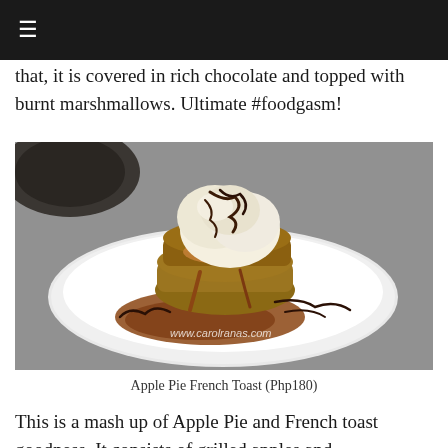☰
that, it is covered in rich chocolate and topped with burnt marshmallows. Ultimate #foodgasm!
[Figure (photo): A plate of Apple Pie French Toast — stacked grilled apple slices topped with a scoop of vanilla ice cream and drizzled with chocolate sauce and caramel, served on a white plate on a stone table. Watermark: www.carolranas.com]
Apple Pie French Toast (Php180)
This is a mash up of Apple Pie and French toast goodness. It consists of grilled apples and